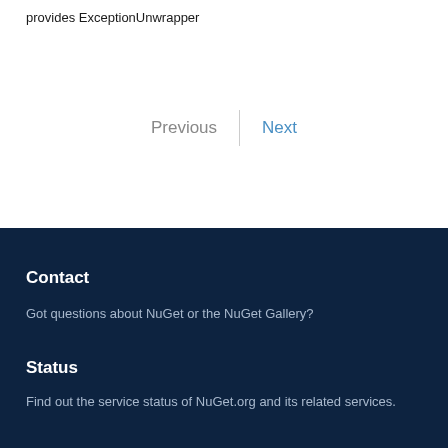provides ExceptionUnwrapper
Previous  |  Next
Contact
Got questions about NuGet or the NuGet Gallery?
Status
Find out the service status of NuGet.org and its related services.